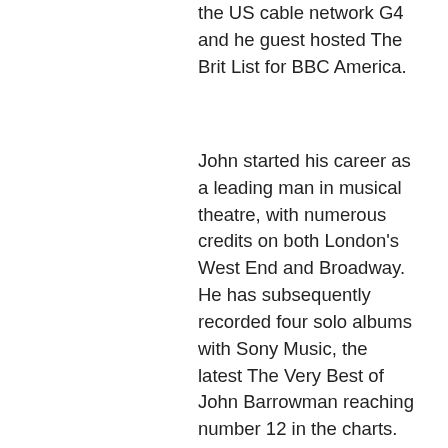the US cable network G4 and he guest hosted The Brit List for BBC America.
John started his career as a leading man in musical theatre, with numerous credits on both London's West End and Broadway. He has subsequently recorded four solo albums with Sony Music, the latest The Very Best of John Barrowman reaching number 12 in the charts. In 2008 his autobiography Anything Goes, which he wrote with his sister Carole E. Barrowman, was published by Michael O'Mara Books and reached number 2 in the Sunday Times best seller's list, remaining in the top ten for 13 weeks. A follow up autobiography I Am What I Am was published in 2009.